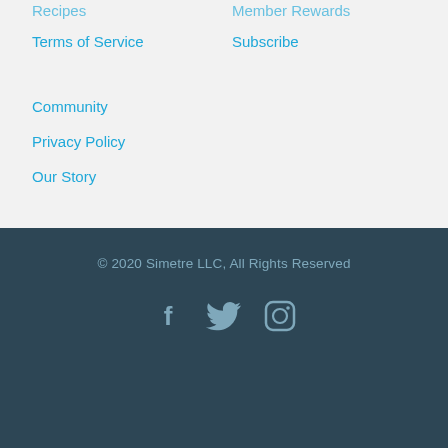Recipes
Member Rewards
Terms of Service
Subscribe
Community
Privacy Policy
Our Story
© 2020 Simetre LLC,  All Rights Reserved
[Figure (illustration): Social media icons: Facebook, Twitter, Instagram in muted teal/grey color on dark blue-grey background]